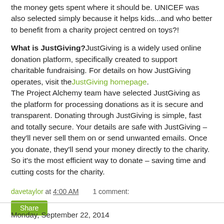the money gets spent where it should be. UNICEF was also selected simply because it helps kids...and who better to benefit from a charity project centred on toys?!
What is JustGiving? JustGiving is a widely used online donation platform, specifically created to support charitable fundraising. For details on how JustGiving operates, visit the JustGiving homepage. The Project Alchemy team have selected JustGiving as the platform for processing donations as it is secure and transparent. Donating through JustGiving is simple, fast and totally secure. Your details are safe with JustGiving – they'll never sell them on or send unwanted emails. Once you donate, they'll send your money directly to the charity. So it's the most efficient way to donate – saving time and cutting costs for the charity.
davetaylor at 4:00 AM   1 comment:
Share
Monday, September 22, 2014